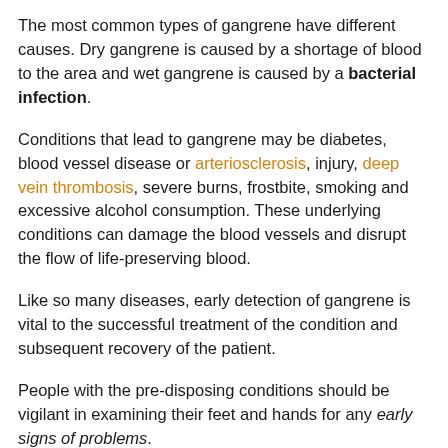The most common types of gangrene have different causes. Dry gangrene is caused by a shortage of blood to the area and wet gangrene is caused by a bacterial infection.
Conditions that lead to gangrene may be diabetes, blood vessel disease or arteriosclerosis, injury, deep vein thrombosis, severe burns, frostbite, smoking and excessive alcohol consumption. These underlying conditions can damage the blood vessels and disrupt the flow of life-preserving blood.
Like so many diseases, early detection of gangrene is vital to the successful treatment of the condition and subsequent recovery of the patient.
People with the pre-disposing conditions should be vigilant in examining their feet and hands for any early signs of problems.